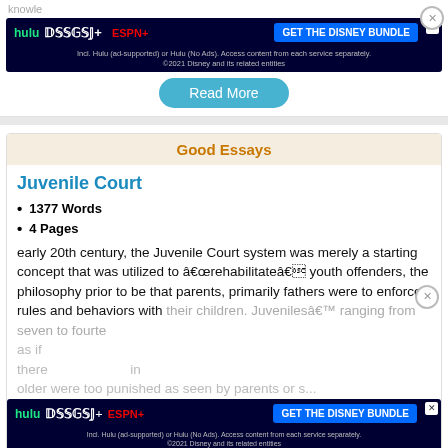[Figure (screenshot): Hulu Disney+ ESPN+ GET THE DISNEY BUNDLE advertisement banner at top of page. Includes fine print: Incl. Hulu (ad-supported) or Hulu (No Ads). Access content from each service separately. ©2021 Disney and its related entities]
knowle...
Read More
Good Essays
Juvenile Court
1377 Words
4 Pages
early 20th century, the Juvenile Court system was merely a starting concept that was utilized to â€œrehabilitateâ€ youth offenders, the philosophy prior to be that parents, primarily fathers were to enforce rules and behaviors with their children. Juvenilesâ€™ ranging from seven to fourteen... as if there ... in older were too punished as seen by parents or s...
[Figure (screenshot): Hulu Disney+ ESPN+ GET THE DISNEY BUNDLE advertisement banner at bottom of page. Incl. Hulu (ad-supported) or Hulu (No Ads). Access content from each service separately. ©2021 Disney and its related entities]